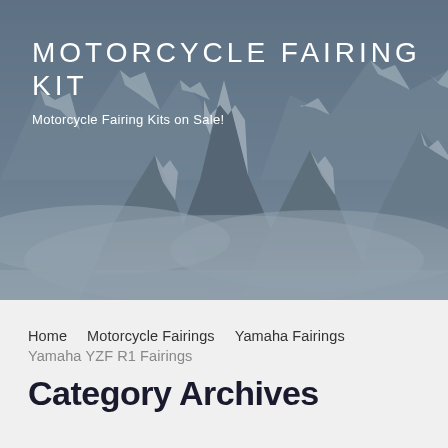[Figure (photo): Snow-capped mountain peaks emerging from clouds with a blue-grey overlay, used as a hero banner background]
MOTORCYCLE FAIRING KIT
Motorcycle Fairing Kits on Sale!
Home   Motorcycle Fairings   Yamaha Fairings
Yamaha YZF R1 Fairings
Category Archives